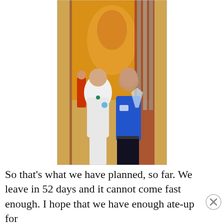[Figure (photo): Two people posing together indoors in front of decorative artwork. A woman in white clothing and a man in a blue shirt holding a cocktail glass. Another person visible in background.]
So that’s what we have planned, so far. We leave in 52 days and it cannot come fast enough. I hope that we have enough ate-up for
Advertisements
[Figure (screenshot): DAY ONE app advertisement banner: 'The only journaling app you'll ever need.' with illustrated icons on cyan/blue background.]